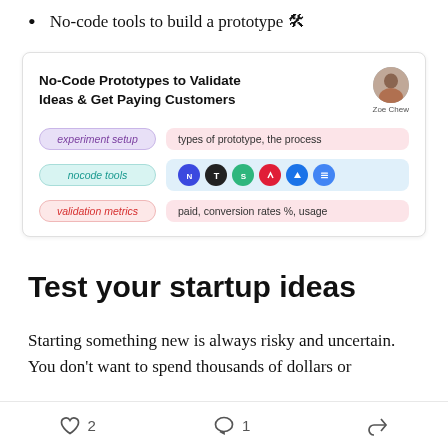No-code tools to build a prototype 🛠
[Figure (infographic): Card titled 'No-Code Prototypes to Validate Ideas & Get Paying Customers' by Zoe Chew. Shows three rows: 'experiment setup' / types of prototype, the process; 'nocode tools' / icons for various tools; 'validation metrics' / paid, conversion rates %, usage]
Test your startup ideas
Starting something new is always risky and uncertain. You don't want to spend thousands of dollars or